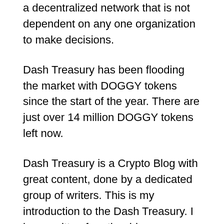a decentralized network that is not dependent on any one organization to make decisions.
Dash Treasury has been flooding the market with DOGGY tokens since the start of the year. There are just over 14 million DOGGY tokens left now.
Dash Treasury is a Crypto Blog with great content, done by a dedicated group of writers. This is my introduction to the Dash Treasury. I have written for other blogs, including the one I am with currently, but I have never had a chance to officially write for one. I have been invited to join the Dash Treasury by the owner, and I am so excited to have this opportunity.